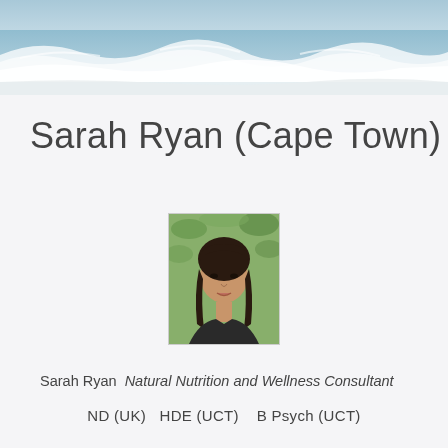[Figure (photo): Ocean waves aerial photo banner at top of page]
Sarah Ryan (Cape Town)
[Figure (photo): Headshot portrait of Sarah Ryan, a woman with dark hair, against a green leafy background]
Sarah Ryan  Natural Nutrition and Wellness Consultant
ND (UK)  HDE (UCT)   B Psych (UCT)